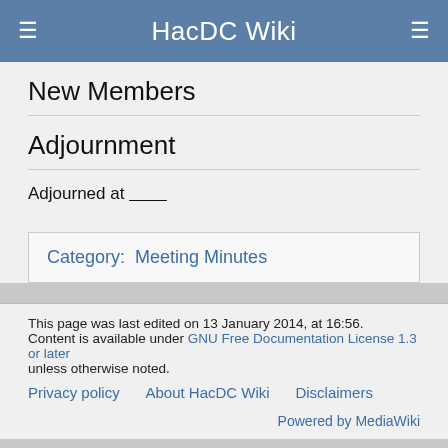HacDC Wiki
New Members
Adjournment
Adjourned at ________
Category:  Meeting Minutes
This page was last edited on 13 January 2014, at 16:56. Content is available under GNU Free Documentation License 1.3 or later unless otherwise noted. Privacy policy   About HacDC Wiki   Disclaimers   Powered by MediaWiki